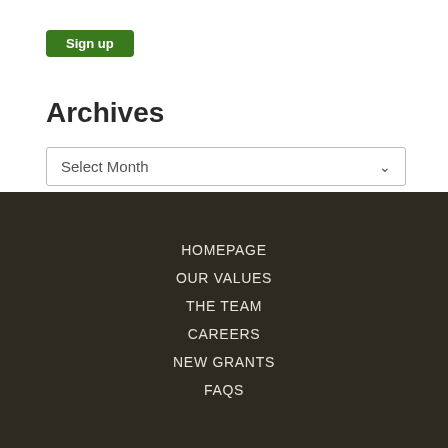Archives
Select Month
HOMEPAGE
OUR VALUES
THE TEAM
CAREERS
NEW GRANTS
FAQS